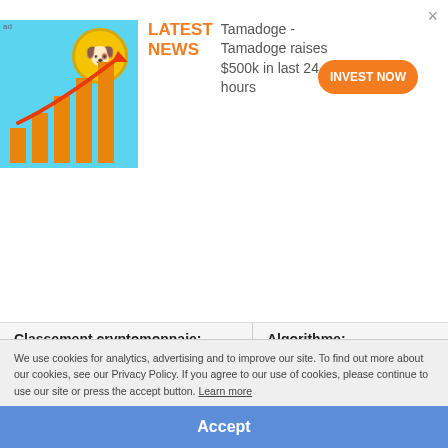[Figure (screenshot): Advertisement banner for Tamadoge cryptocurrency showing coin logo with dog, bar chart graphic, LATEST NEWS text, headline 'Tamadoge - Tamadoge raises $500k in last 24 hours', and INVEST NOW button]
| Classement cryptomonnaie: | Algorithme: |
| --- | --- |
| ? #79 | PoA |
|  | Mineable: No |
We use cookies for analytics, advertising and to improve our site. To find out more about our cookies, see our Privacy Policy. If you agree to our use of cookies, please continue to use our site or press the accept button. Learn more
Accept